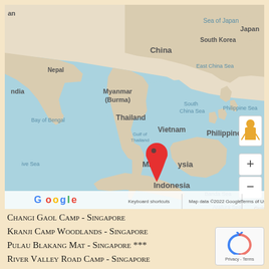[Figure (map): Google Maps screenshot showing Southeast Asia region. Visible countries/labels: an (partial top-left), China, South Korea, Japan, Sea of Japan, East China Sea, Nepal, Myanmar (Burma), Thailand, Vietnam, Philippines, Philippine Sea, South China Sea, Bay of Bengal, Gulf of Thailand, Malaysia (with red location pin marker), Indonesia, Banda Sea, Arafura Sea, New Guinea (partial). Map controls include person/street view icon and +/- zoom buttons in top-right area. Bottom shows Google logo, Keyboard shortcuts, Map data ©2022 Google, Terms of Use.]
Changi Gaol Camp - Singapore
Kranji Camp Woodlands - Singapore
Pulau Blakang Mat - Singapore ***
River Valley Road Camp - Singapore